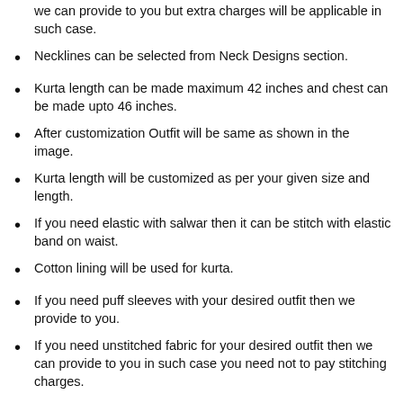we can provide to you but extra charges will be applicable in such case.
Necklines can be selected from Neck Designs section.
Kurta length can be made maximum 42 inches and chest can be made upto 46 inches.
After customization Outfit will be same as shown in the image.
Kurta length will be customized as per your given size and length.
If you need elastic with salwar then it can be stitch with elastic band on waist.
Cotton lining will be used for kurta.
If you need puff sleeves with your desired outfit then we provide to you.
If you need unstitched fabric for your desired outfit then we can provide to you in such case you need not to pay stitching charges.
If you don't want to provide complete measurement then it's okay, you can provide only Bust size and complete height. We will stitch the outfit according to